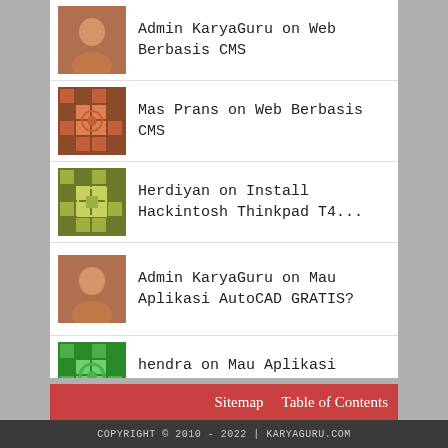Admin KaryaGuru on Web Berbasis CMS
Mas Prans on Web Berbasis CMS
Herdiyan on Install Hackintosh Thinkpad T4...
Admin KaryaGuru on Mau Aplikasi AutoCAD GRATIS?
hendra on Mau Aplikasi AutoCAD GRATIS?
Hadi ZI on Kursus AutoCAD 2D & 3D
Admin KaryaGuru on Kursus Private AutoCAD di Cege...
Admin KaryaGuru on Tutorial
Isa on Kursus Private AutoCAD di Cege...
Sitemap   Table of Contents
COPYRIGHT © 2010 - 2022 | KARYAGURU.COM